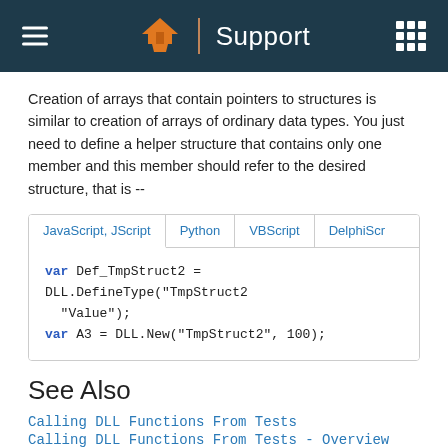Support
Creation of arrays that contain pointers to structures is similar to creation of arrays of ordinary data types. You just need to define a helper structure that contains only one member and this member should refer to the desired structure, that is --
[Figure (screenshot): Code block with tabs: JavaScript/JScript, Python, VBScript, DelphiScr. Active tab shows JavaScript code: var Def_TmpStruct2 = DLL.DefineType("TmpStruct2 "Value"); var A3 = DLL.New("TmpStruct2", 100);]
See Also
Calling DLL Functions From Tests
Calling DLL Functions From Tests - Overview